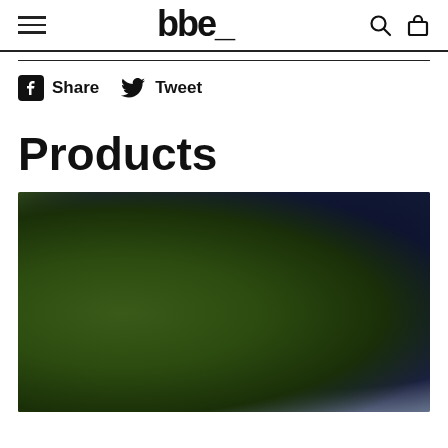bbe_ [logo with hamburger menu, search icon, and bag icon]
Share   Tweet
Products
[Figure (photo): Blurred product image with green and dark blue/black gradient tones, partially visible at bottom of page]